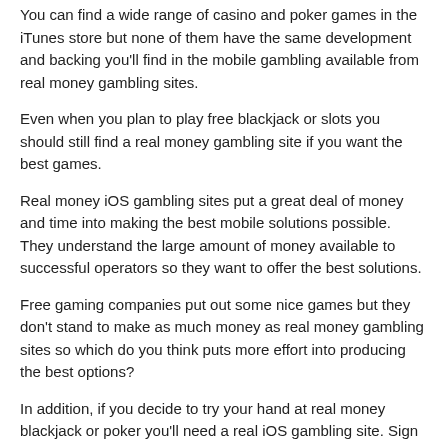You can find a wide range of casino and poker games in the iTunes store but none of them have the same development and backing you'll find in the mobile gambling available from real money gambling sites.
Even when you plan to play free blackjack or slots you should still find a real money gambling site if you want the best games.
Real money iOS gambling sites put a great deal of money and time into making the best mobile solutions possible. They understand the large amount of money available to successful operators so they want to offer the best solutions.
Free gaming companies put out some nice games but they don't stand to make as much money as real money gambling sites so which do you think puts more effort into producing the best options?
In addition, if you decide to try your hand at real money blackjack or poker you'll need a real iOS gambling site. Sign up and play for free to see how you like the app. Most iOS sites offer a sign up bonus of some sort, so when you do start betting real money you'll get a boost for your bankroll.